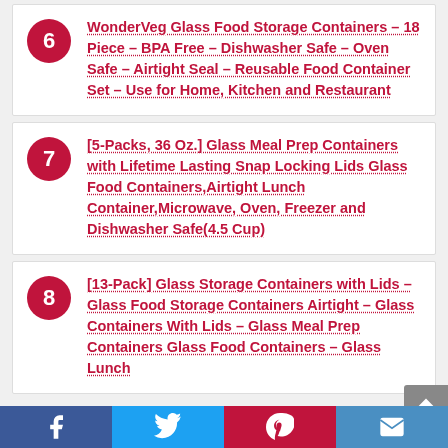6 WonderVeg Glass Food Storage Containers – 18 Piece – BPA Free – Dishwasher Safe – Oven Safe – Airtight Seal – Reusable Food Container Set – Use for Home, Kitchen and Restaurant
7 [5-Packs, 36 Oz.] Glass Meal Prep Containers with Lifetime Lasting Snap Locking Lids Glass Food Containers,Airtight Lunch Container,Microwave, Oven, Freezer and Dishwasher Safe(4.5 Cup)
8 [13-Pack] Glass Storage Containers with Lids – Glass Food Storage Containers Airtight – Glass Containers With Lids – Glass Meal Prep Containers Glass Food Containers – Glass Lunch …